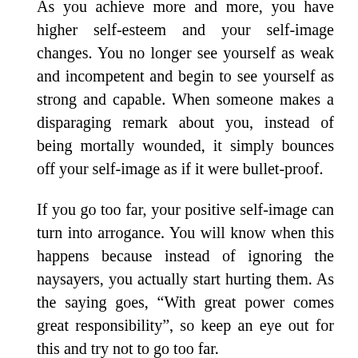As you achieve more and more, you have higher self-esteem and your self-image changes. You no longer see yourself as weak and incompetent and begin to see yourself as strong and capable. When someone makes a disparaging remark about you, instead of being mortally wounded, it simply bounces off your self-image as if it were bullet-proof.
If you go too far, your positive self-image can turn into arrogance. You will know when this happens because instead of ignoring the naysayers, you actually start hurting them. As the saying goes, “With great power comes great responsibility”, so keep an eye out for this and try not to go too far.